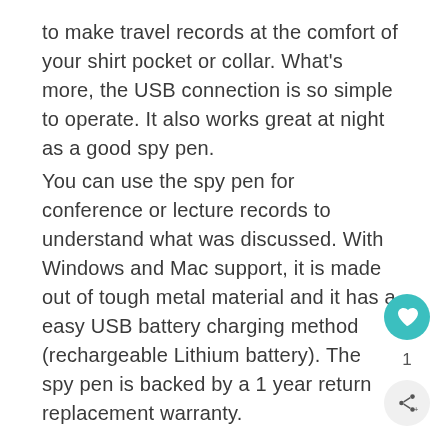to make travel records at the comfort of your shirt pocket or collar. What's more, the USB connection is so simple to operate. It also works great at night as a good spy pen.
You can use the spy pen for conference or lecture records to understand what was discussed. With Windows and Mac support, it is made out of tough metal material and it has a easy USB battery charging method (rechargeable Lithium battery). The spy pen is backed by a 1 year return replacement warranty.